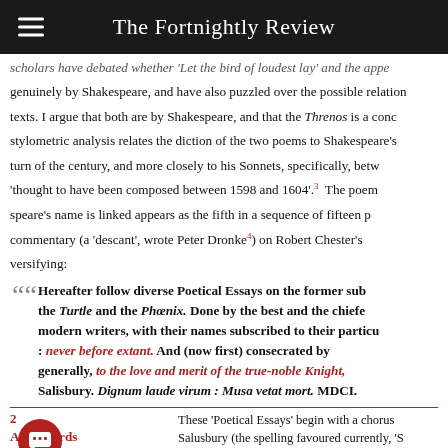The Fortnightly Review
scholars have debated whether 'Let the bird of loudest lay' and the app genuinely by Shakespeare, and have also puzzled over the possible relation texts. I argue that both are by Shakespeare, and that the Threnos is a conc stylometric analysis relates the diction of the two poems to Shakespeare's turn of the century, and more closely to his Sonnets, specifically, betw 'thought to have been composed between 1598 and 1604'.³ The poem speare's name is linked appears as the fifth in a sequence of fifteen p commentary (a 'descant', wrote Peter Dronke⁴) on Robert Chester's versifying:
Hereafter follow diverse Poetical Essays on the former sub the Turtle and the Phœnix. Done by the best and the chiefo modern writers, with their names subscribed to their particu : never before extant. And (now first) consecrated by generally, to the love and merit of the true-noble Knight, Salisbury. Dignum laude virum : Musa vetat mort. MDCI.
2 A. Richards minated 'The Phoenix and
These 'Poetical Essays' begin with a chorus Salusbury (the spelling favoured currently, 'S version) by the Seers (Vatum), then the poe first., The burning., signed 'Ignoto', and